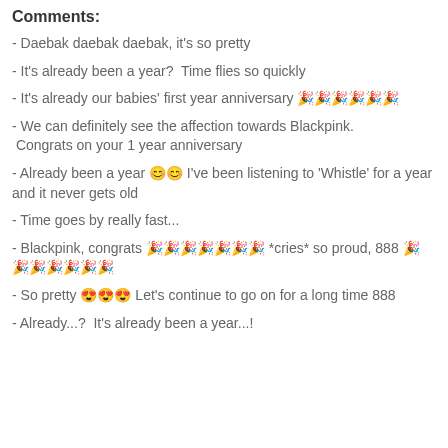Comments:
- Daebak daebak daebak, it's so pretty
- It's already been a year?  Time flies so quickly
- It's already our babies' first year anniversary 🎉🎉🎉🎉🎉🎉
- We can definitely see the affection towards Blackpink. Congrats on your 1 year anniversary
- Already been a year 😊😊 I've been listening to 'Whistle' for a year and it never gets old
- Time goes by really fast...
- Blackpink, congrats 🎉🎉🎉🎉🎉🎉🎉 *cries* so proud, 888 🎉🎉🎉🎉🎉🎉🎉
- So pretty 😍😍😍 Let's continue to go on for a long time 888
- Already...?  It's already been a year...!